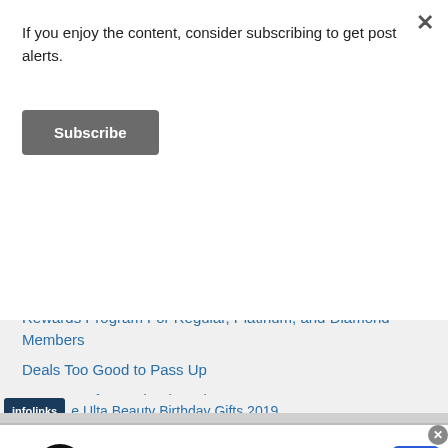If you enjoy the content, consider subscribing to get post alerts.
Subscribe
How To Clean Lipstick and Is This Lipstick Moldy or Sweating?
Earning and Redeeming Points at Ulta Under the UltaMate Rewards Program For Regular, Platinum, and Diamond Members
Deals Too Good to Pass Up
How To Refer a Friend to Ulta
e Ulta Beauty Birthday Gifts 2019
[Figure (screenshot): Advertisement banner: Virginia Tire & Auto logo. Text reads 'Up To $110 Off Instantly on New Tires + $40 Off Alignments' with a blue navigation arrow icon.]